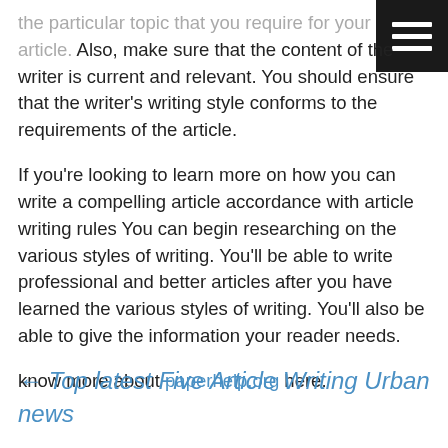[Figure (other): Hamburger menu icon — three white horizontal bars on a dark/black square background, top-right corner]
the particular topic that you require for your article. Also, make sure that the content of the writer is current and relevant. You should ensure that the writer's writing style conforms to the requirements of the article.
If you're looking to learn more on how you can write a compelling article accordance with article writing rules You can begin researching on the various styles of writing. You'll be able to write professional and better articles after you have learned the various styles of writing. You'll also be able to give the information your reader needs.
know more about paperhelp.org here.
← Top latest Five Article Writing Urban news